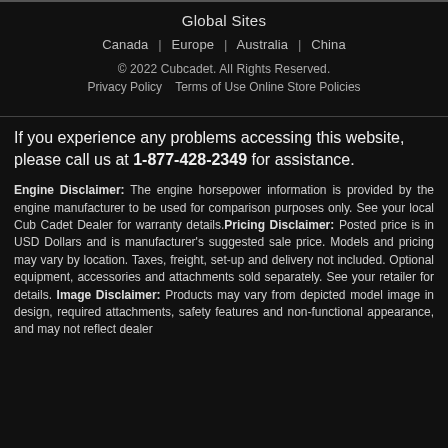Global Sites
Canada | Europe | Australia | China
© 2022 Cubcadet. All Rights Reserved.
Privacy Policy   Terms of Use Online Store Policies
If you experience any problems accessing this website, please call us at 1-877-428-2349 for assistance.
Engine Disclaimer: The engine horsepower information is provided by the engine manufacturer to be used for comparison purposes only. See your local Cub Cadet Dealer for warranty details.Pricing Disclaimer: Posted price is in USD Dollars and is manufacturer's suggested sale price. Models and pricing may vary by location. Taxes, freight, set-up and delivery not included. Optional equipment, accessories and attachments sold separately. See your retailer for details. Image Disclaimer: Products may vary from depicted model image in design, required attachments, safety features and non-functional appearance, and may not reflect dealer